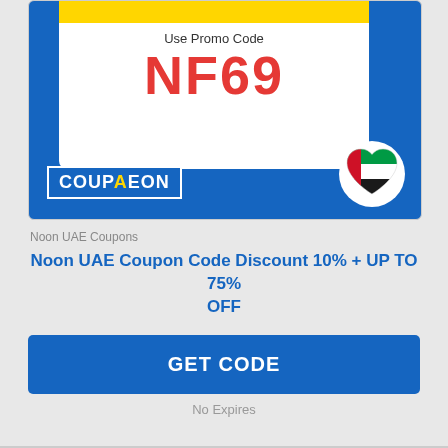[Figure (illustration): Coupon card with blue background, white inner card showing 'Use Promo Code NF69' in red, COUPAEON logo at bottom-left, UAE flag heart at bottom-right]
Noon UAE Coupons
Noon UAE Coupon Code Discount 10% + UP TO 75% OFF
GET CODE
No Expires